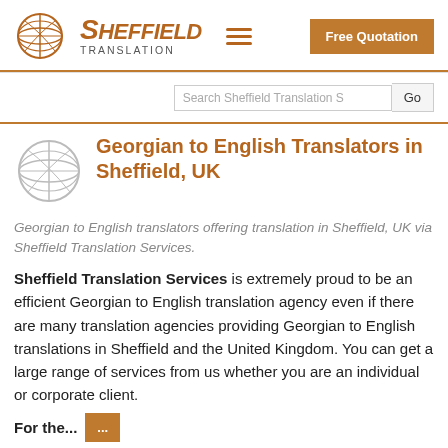[Figure (logo): Sheffield Translation logo with globe icon and text]
Georgian to English Translators in Sheffield, UK
Georgian to English translators offering translation in Sheffield, UK via Sheffield Translation Services.
Sheffield Translation Services is extremely proud to be an efficient Georgian to English translation agency even if there are many translation agencies providing Georgian to English translations in Sheffield and the United Kingdom. You can get a large range of services from us whether you are an individual or corporate client.
For the...